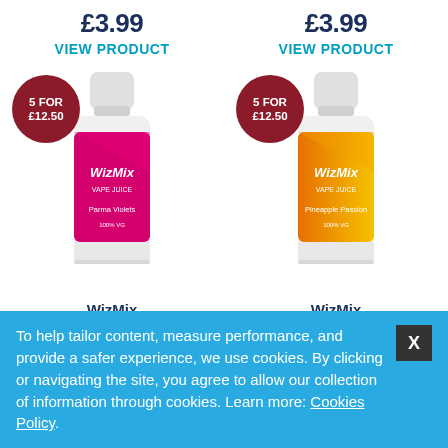£3.99
VIEW PRODUCT
£3.99
VIEW PRODUCT
[Figure (photo): WizMix Parma Violets e-liquid bottle with pink/magenta label, white cap, with '5 FOR £12.50' badge]
[Figure (photo): WizMix Pineapple Passion e-liquid bottle with orange/yellow label, white cap, with '5 FOR £12.50' badge]
WizMix
Parma Violets
WizMix
Pineapple Passion
To help tailor content, measure performance, and provide a safer experience, we use cookies. By clicking or navigating the site, you agree to allow our collection of information through cookies. Learn more: Cookies Policy.